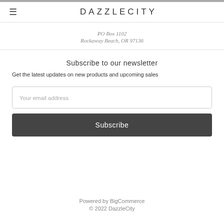DAZZLECITY
PO Box 1102
Rockaway Beach, OR 97136
Subscribe to our newsletter
Get the latest updates on new products and upcoming sales
Your email address
Subscribe
Powered by BigCommerce
© 2022 DazzleCity